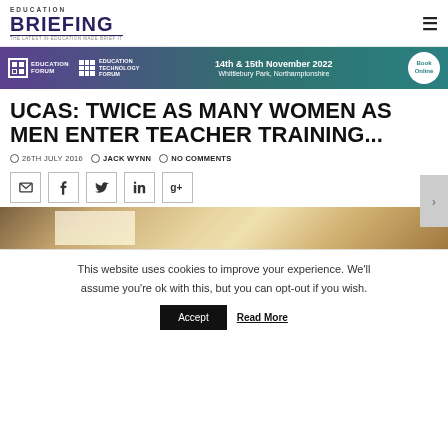EDUCATION BRIEFING — THE LATEST IN EDUCATION MADE BRIEF IT
[Figure (infographic): Banner advertisement for Education Forum and Education Technology Forum, 14th & 15th November 2022, Whittlebury Park, Northamptonshire. Book Online button.]
UCAS: TWICE AS MANY WOMEN AS MEN ENTER TEACHER TRAINING...
26TH JULY 2016   JACK WYNN   NO COMMENTS
[Figure (infographic): Social sharing buttons: email, facebook, twitter, linkedin, google+]
[Figure (photo): Article header image showing a classroom or educational setting with warm tones]
This website uses cookies to improve your experience. We'll assume you're ok with this, but you can opt-out if you wish.
Accept   Read More